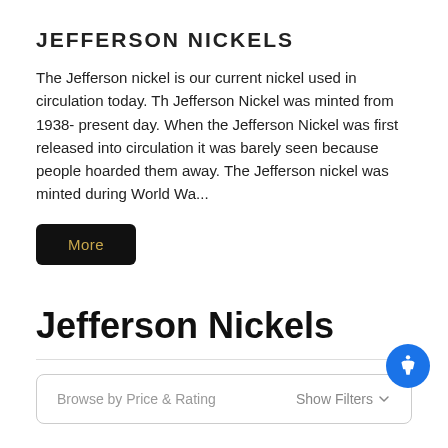JEFFERSON NICKELS
The Jefferson nickel is our current nickel used in circulation today. Th Jefferson Nickel was minted from 1938- present day. When the Jefferson Nickel was first released into circulation it was barely seen because people hoarded them away. The Jefferson nickel was minted during World Wa...
More
Jefferson Nickels
Browse by Price & Rating
Show Filters